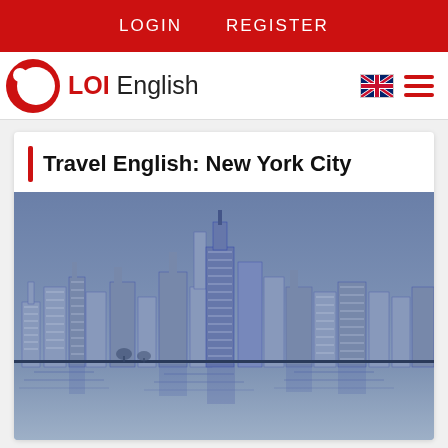LOGIN   REGISTER
LOI English
Travel English: New York City
[Figure (illustration): Illustrated skyline of New York City with skyscrapers reflected in water, rendered in blue/navy tones with white sketch-like detail lines]